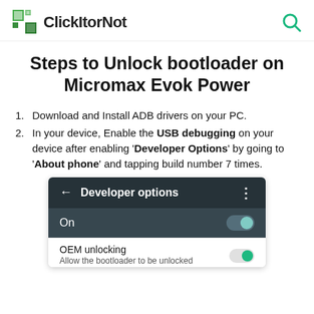ClickItorNot
Steps to Unlock bootloader on Micromax Evok Power
Download and Install ADB drivers on your PC.
In your device, Enable the USB debugging on your device after enabling 'Developer Options' by going to 'About phone' and tapping build number 7 times.
[Figure (screenshot): Android Developer options screen showing the toggle 'On' and 'OEM unlocking' setting with 'Allow the bootloader to be unlocked' subtitle]